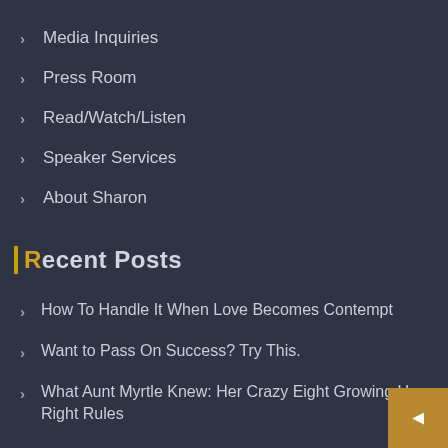Media Inquiries
Press Room
Read/Watch/Listen
Speaker Services
About Sharon
Recent Posts
How To Handle It When Love Becomes Contempt
Want to Pass On Success? Try This.
What Aunt Myrtle Knew: Her Crazy Eight Growing Up Right Rules
Get Over It. They Could've Just Had Bad Sushi For Lunch